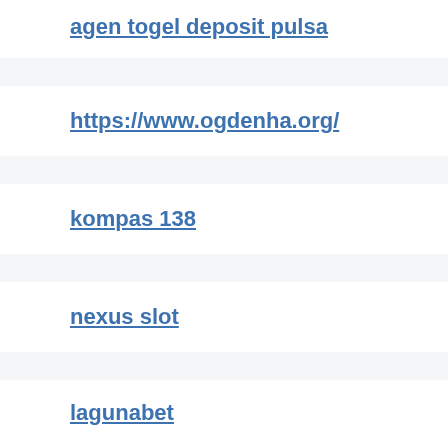agen togel deposit pulsa
https://www.ogdenha.org/
kompas 138
nexus slot
lagunabet